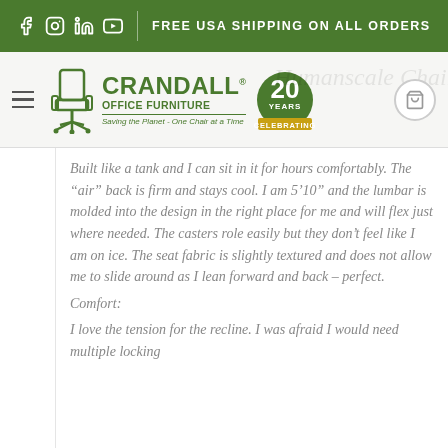[Figure (screenshot): Crandall Office Furniture website header with green top banner showing social media icons and FREE USA SHIPPING ON ALL ORDERS text, logo with chair icon, brand name, 20 Years Celebrating badge, and shopping cart icon.]
Built like a tank and I can sit in it for hours comfortably. The “air” back is firm and stays cool. I am 5’10” and the lumbar is molded into the design in the right place for me and will flex just where needed. The casters role easily but they don’t feel like I am on ice. The seat fabric is slightly textured and does not allow me to slide around as I lean forward and back – perfect.
Comfort:
I love the tension for the recline. I was afraid I would need multiple locking